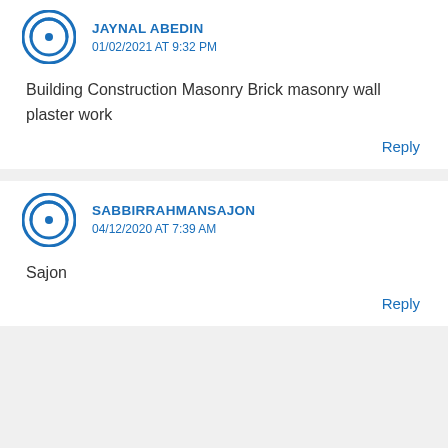JAYNAL ABEDIN
01/02/2021 AT 9:32 PM
Building Construction Masonry Brick masonry wall plaster work
Reply
SABBIRRAHMANSAJON
04/12/2020 AT 7:39 AM
Sajon
Reply